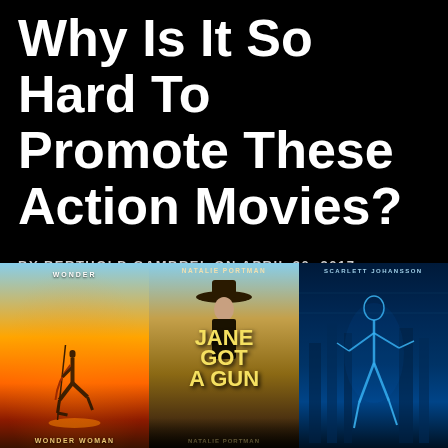Why Is It So Hard To Promote These Action Movies?
BY BERTHOLD GAMBREL ON APRIL 30, 2017
[Figure (photo): Three movie posters side by side: Wonder Woman (warm sunset silhouette), Jane Got a Gun (Natalie Portman western), Ghost in the Shell (Scarlett Johansson sci-fi blue figure)]